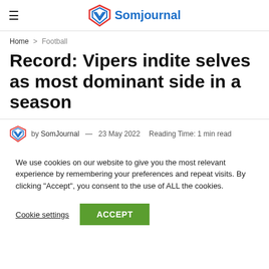Somjournal
Home > Football
Record: Vipers indite selves as most dominant side in a season
by SomJournal — 23 May 2022  Reading Time: 1 min read
We use cookies on our website to give you the most relevant experience by remembering your preferences and repeat visits. By clicking "Accept", you consent to the use of ALL the cookies.
Cookie settings  ACCEPT